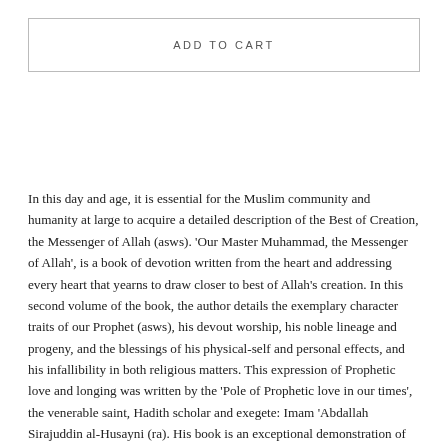ADD TO CART
In this day and age, it is essential for the Muslim community and humanity at large to acquire a detailed description of the Best of Creation, the Messenger of Allah (asws). ‘Our Master Muhammad, the Messenger of Allah’, is a book of devotion written from the heart and addressing every heart that yearns to draw closer to best of Allah’s creation. In this second volume of the book, the author details the exemplary character traits of our Prophet (asws), his devout worship, his noble lineage and progeny, and the blessings of his physical-self and personal effects, and his infallibility in both religious matters. This expression of Prophetic love and longing was written by the ‘Pole of Prophetic love in our times’, the venerable saint, Hadith scholar and exegete: Imam ‘Abdallah Sirajuddin al-Husayni (ra). His book is an exceptional demonstration of sound scholarship and spiritual realization. ‘O you who love the Messenger of Allah (asws)! Time has isolated us, tribulations have spread amongst us, the charlatans have spoken, and